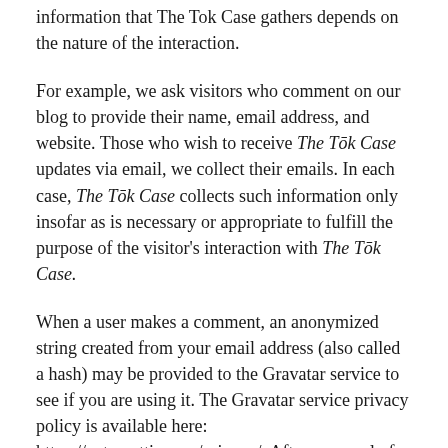information that The Tok Case gathers depends on the nature of the interaction.
For example, we ask visitors who comment on our blog to provide their name, email address, and website. Those who wish to receive The Tōk Case updates via email, we collect their emails. In each case, The Tōk Case collects such information only insofar as is necessary or appropriate to fulfill the purpose of the visitor's interaction with The Tōk Case.
When a user makes a comment, an anonymized string created from your email address (also called a hash) may be provided to the Gravatar service to see if you are using it. The Gravatar service privacy policy is available here: https://automattic.com/privacy/. After approval of your comment, your profile picture is visible to the public in the context of your comment.